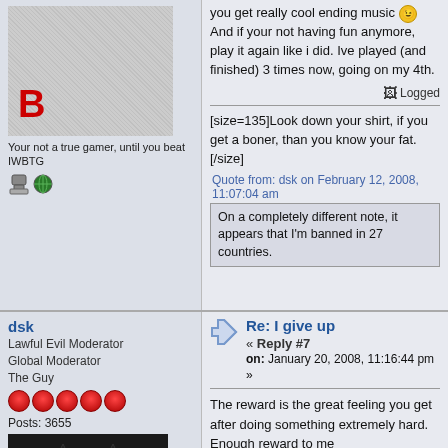[Figure (photo): Avatar image with letter B in red, blurry/noisy background]
Your not a true gamer, until you beat IWBTG
[Figure (illustration): User icon and globe icon]
you get really cool ending music 😉 And if your not having fun anymore, play it again like i did. Ive played (and finished) 3 times now, going on my 4th.
Logged
[size=135]Look down your shirt, if you get a boner, than you know your fat. [/size]
Quote from: dsk on February 12, 2008, 11:07:04 am
On a completely different note, it appears that I'm banned in 27 countries.
dsk
Lawful Evil Moderator
Global Moderator
The Guy
Posts: 3655
[Figure (photo): Photo of a black cat looking at camera]
Re: I give up
« Reply #7
on: January 20, 2008, 11:16:44 pm »
The reward is the great feeling you get after doing something extremely hard.
Enough reward to me